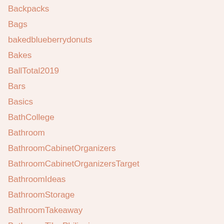Backpacks
Bags
bakedblueberrydonuts
Bakes
BallTotal2019
Bars
Basics
BathCollege
Bathroom
BathroomCabinetOrganizers
BathroomCabinetOrganizersTarget
BathroomIdeas
BathroomStorage
BathroomTakeaway
BathroomTilesPhilippines